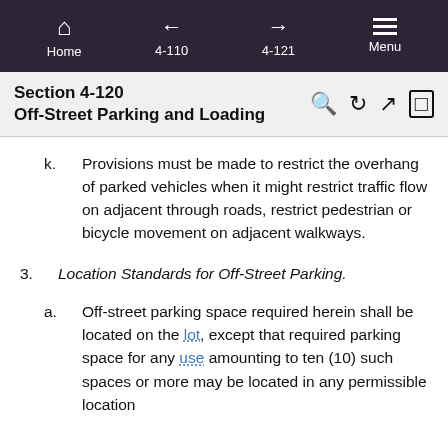Home | 4-110 | 4-121 | Menu
Section 4-120
Off-Street Parking and Loading
k.    Provisions must be made to restrict the overhang of parked vehicles when it might restrict traffic flow on adjacent through roads, restrict pedestrian or bicycle movement on adjacent walkways.
3.   Location Standards for Off-Street Parking.
a.    Off-street parking space required herein shall be located on the lot, except that required parking space for any use amounting to ten (10) such spaces or more may be located in any permissible location